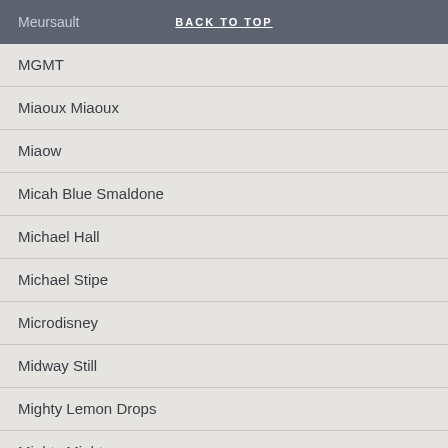Meursault — BACK TO TOP
MGMT
Miaoux Miaoux
Miaow
Micah Blue Smaldone
Michael Hall
Michael Stipe
Microdisney
Midway Still
Mighty Lemon Drops
Mighty Mighty
Mighty Wah
Mike Heron & John Burnside